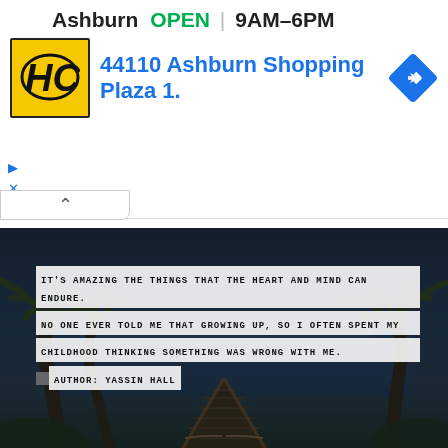[Figure (screenshot): Ad banner showing Ashburn location, OPEN status, hours 9AM-6PM, address 44110 Ashburn Shopping Plaza 1., HC logo in yellow, navigation arrow diamond icon, play and close controls, collapse chevron button]
[Figure (photo): Tropical beach boardwalk scene at dusk with palm trees on both sides and a wooden walkway leading to the water. Overlaid quote text in white-background monospace uppercase: IT'S AMAZING THE THINGS THAT THE HEART AND MIND CAN ENDURE. NO ONE EVER TOLD ME THAT GROWING UP, SO I OFTEN SPENT MY CHILDHOOD THINKING SOMETHING WAS WRONG WITH ME. AUTHOR: YASSIN HALL]